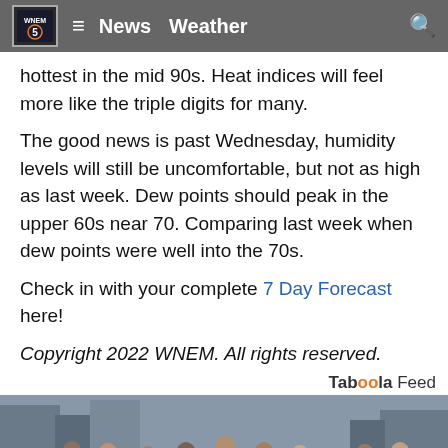WNEM  News  Weather
hottest in the mid 90s. Heat indices will feel more like the triple digits for many.
The good news is past Wednesday, humidity levels will still be uncomfortable, but not as high as last week. Dew points should peak in the upper 60s near 70. Comparing last week when dew points were well into the 70s.
Check in with your complete 7 Day Forecast here!
Copyright 2022 WNEM. All rights reserved.
Taboola Feed
[Figure (photo): Group of people wearing matching dark blue branded t-shirts standing on a city street]